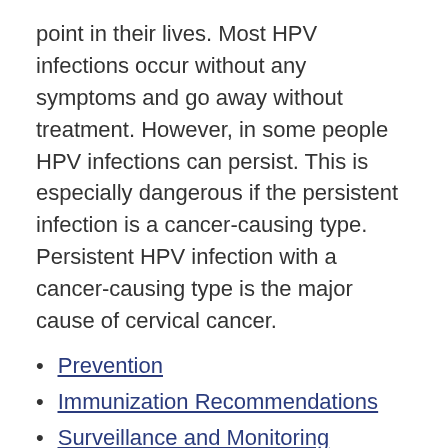point in their lives. Most HPV infections occur without any symptoms and go away without treatment. However, in some people HPV infections can persist. This is especially dangerous if the persistent infection is a cancer-causing type. Persistent HPV infection with a cancer-causing type is the major cause of cervical cancer.
Prevention
Immunization Recommendations
Surveillance and Monitoring
Prevention